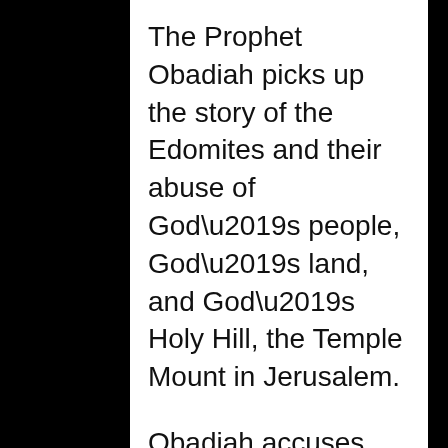The Prophet Obadiah picks up the story of the Edomites and their abuse of God’s people, God’s land, and God’s Holy Hill, the Temple Mount in Jerusalem.
Obadiah accuses Edom of “violence against your brother Jacob.” (v.10) Not